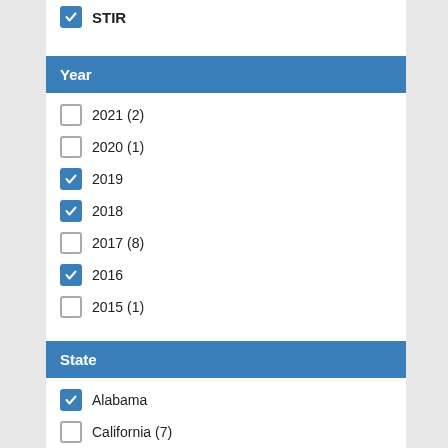☑ STIR
Year
☐ 2021 (2)
☐ 2020 (1)
☑ 2019
☑ 2018
☐ 2017 (8)
☑ 2016
☐ 2015 (1)
State
☑ Alabama
☐ California (7)
☑ Colorado
☐ Indiana (1)
☐ Iowa (1)
☑ Kentucky
☐ Maryland (1)
☐ Massachusetts (4)